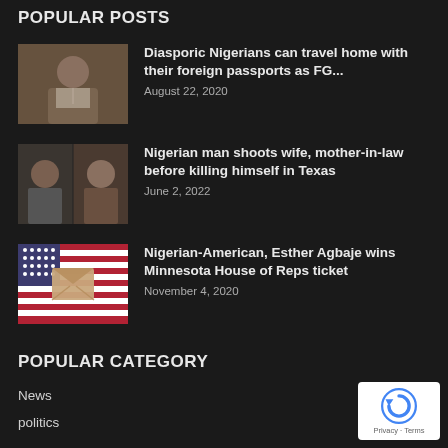POPULAR POSTS
[Figure (photo): Photo of a man in white traditional clothing seated at a desk]
Diasporic Nigerians can travel home with their foreign passports as FG...
August 22, 2020
[Figure (photo): Two photos: a mugshot of a man and a photo of a woman]
Nigerian man shoots wife, mother-in-law before killing himself in Texas
June 2, 2022
[Figure (photo): American flag with an envelope/mail icon overlay]
Nigerian-American, Esther Agbaje wins Minnesota House of Reps ticket
November 4, 2020
POPULAR CATEGORY
News
politics